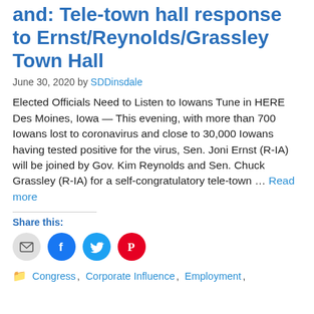and: Tele-town hall response to Ernst/Reynolds/Grassley Town Hall
June 30, 2020 by SDDinsdale
Elected Officials Need to Listen to Iowans Tune in HERE Des Moines, Iowa — This evening, with more than 700 Iowans lost to coronavirus and close to 30,000 Iowans having tested positive for the virus, Sen. Joni Ernst (R-IA) will be joined by Gov. Kim Reynolds and Sen. Chuck Grassley (R-IA) for a self-congratulatory tele-town … Read more
Share this:
Congress , Corporate Influence , Employment ,